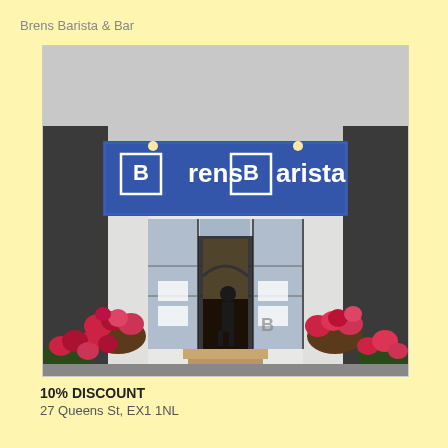Brens Barista & Bar
[Figure (photo): Exterior photograph of Brens Barista & Bar storefront showing a blue sign reading 'Brens Barista', large glass windows, open door entrance, steps leading up, and hanging flower baskets on either side of the entrance.]
10% DISCOUNT
27 Queens St, EX1 1NL